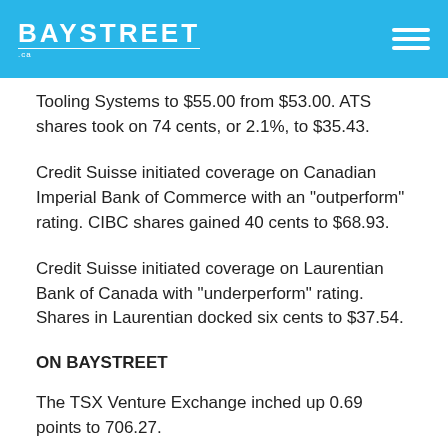BAYSTREET .ca
Tooling Systems to $55.00 from $53.00. ATS shares took on 74 cents, or 2.1%, to $35.43.
Credit Suisse initiated coverage on Canadian Imperial Bank of Commerce with an "outperform" rating. CIBC shares gained 40 cents to $68.93.
Credit Suisse initiated coverage on Laurentian Bank of Canada with "underperform" rating. Shares in Laurentian docked six cents to $37.54.
ON BAYSTREET
The TSX Venture Exchange inched up 0.69 points to 706.27.